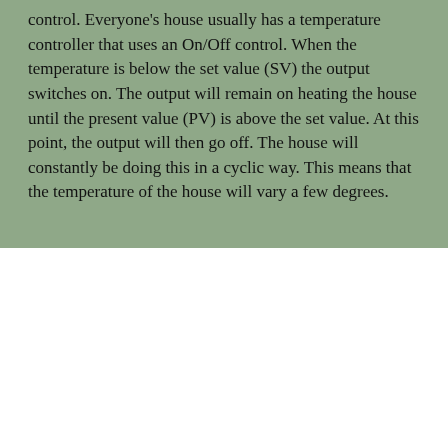control. Everyone's house usually has a temperature controller that uses an On/Off control. When the temperature is below the set value (SV) the output switches on. The output will remain on heating the house until the present value (PV) is above the set value. At this point, the output will then go off. The house will constantly be doing this in a cyclic way. This means that the temperature of the house will vary a few degrees.
[Figure (continuous-plot): A graph showing cyclic on/off temperature control behavior. Two arch-shaped blue curves (inverted parabolas) appear above a horizontal dotted line representing the set value (SV). Vertical dotted lines mark the cycle boundaries. The curves represent the temperature oscillating cyclically around the set point.]